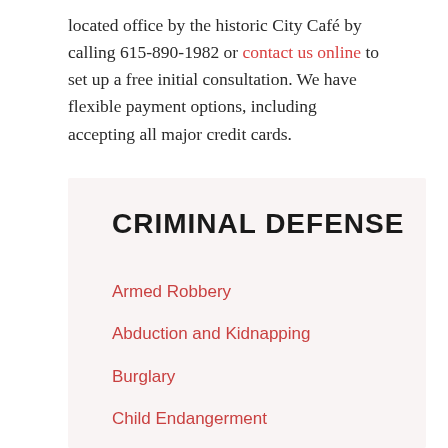located office by the historic City Café by calling 615-890-1982 or contact us online to set up a free initial consultation. We have flexible payment options, including accepting all major credit cards.
CRIMINAL DEFENSE
Armed Robbery
Abduction and Kidnapping
Burglary
Child Endangerment
Cyberstalking
Evading Arrest
Expungement Laws
Felony Crimes